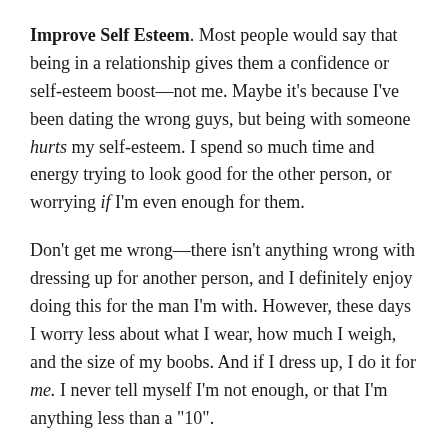Improve Self Esteem. Most people would say that being in a relationship gives them a confidence or self-esteem boost—not me. Maybe it's because I've been dating the wrong guys, but being with someone hurts my self-esteem. I spend so much time and energy trying to look good for the other person, or worrying if I'm even enough for them.
Don't get me wrong—there isn't anything wrong with dressing up for another person, and I definitely enjoy doing this for the man I'm with. However, these days I worry less about what I wear, how much I weigh, and the size of my boobs. And if I dress up, I do it for me. I never tell myself I'm not enough, or that I'm anything less than a "10".